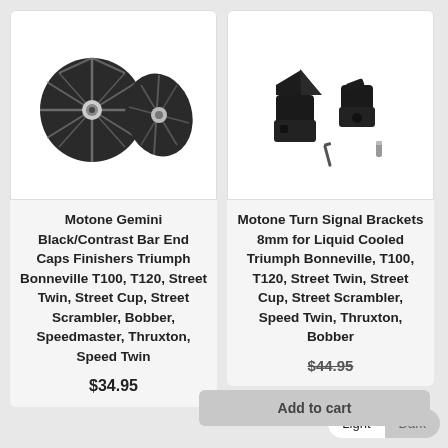[Figure (photo): Two black ribbed bar end caps shown from different angles, with a center bolt hole visible on the front-facing one.]
Motone Gemini Black/Contrast Bar End Caps Finishers Triumph Bonneville T100, T120, Street Twin, Street Cup, Street Scrambler, Bobber, Speedmaster, Thruxton, Speed Twin
$34.95
[Figure (photo): Two black angled turn signal bracket adapters with mounting hardware (allen key and small pin) displayed beside them.]
Motone Turn Signal Brackets 8mm for Liquid Cooled Triumph Bonneville, T100, T120, Street Twin, Street Cup, Street Scrambler, Speed Twin, Thruxton, Bobber
$44.95